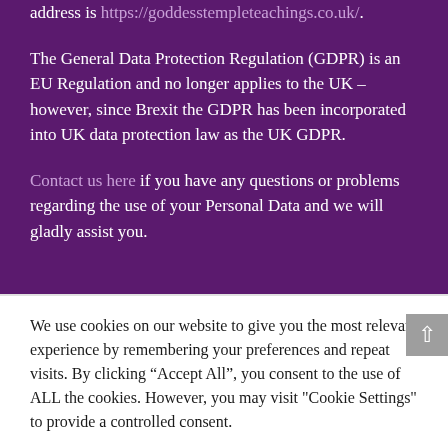address is https://goddesstempleteachings.co.uk/.
The General Data Protection Regulation (GDPR) is an EU Regulation and no longer applies to the UK – however, since Brexit the GDPR has been incorporated into UK data protection law as the UK GDPR.
Contact us here if you have any questions or problems regarding the use of your Personal Data and we will gladly assist you.
We use cookies on our website to give you the most relevant experience by remembering your preferences and repeat visits. By clicking "Accept All", you consent to the use of ALL the cookies. However, you may visit "Cookie Settings" to provide a controlled consent.